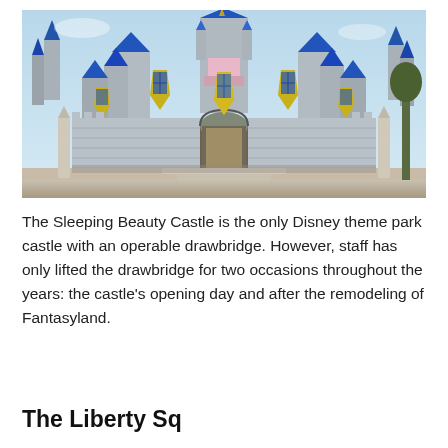[Figure (photo): Photograph of Sleeping Beauty Castle at Disneyland, showing the iconic castle with blue conical spires, pink turrets, grey stone walls, a central arched gateway, and decorative diamond-patterned banners. The sky is light blue and clear.]
The Sleeping Beauty Castle is the only Disney theme park castle with an operable drawbridge. However, staff has only lifted the drawbridge for two occasions throughout the years: the castle's opening day and after the remodeling of Fantasyland.
The Liberty Sq...